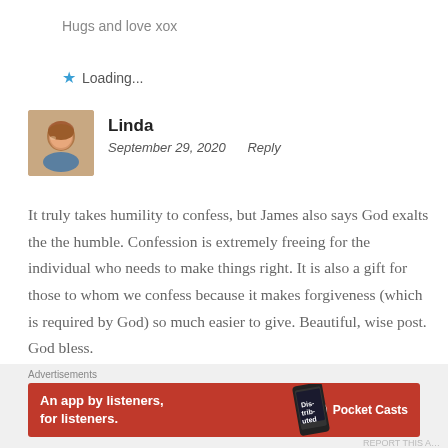Hugs and love xox
Loading...
Linda
September 29, 2020    Reply
It truly takes humility to confess, but James also says God exalts the the humble. Confession is extremely freeing for the individual who needs to make things right. It is also a gift for those to whom we confess because it makes forgiveness (which is required by God) so much easier to give. Beautiful, wise post. God bless.
[Figure (photo): Avatar photo of commenter Linda, a woman with curly reddish-brown hair]
Advertisements
[Figure (infographic): Red advertisement banner for Pocket Casts app reading 'An app by listeners, for listeners.' with a phone image showing 'Distributed' and Pocket Casts logo]